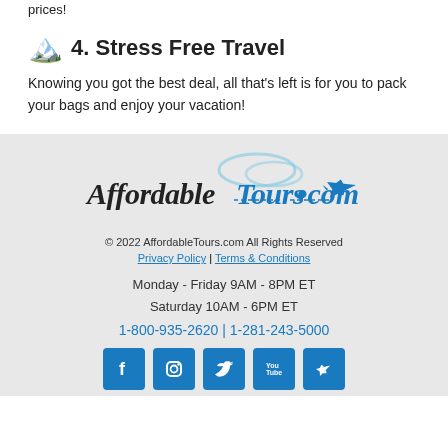prices!
4. Stress Free Travel
Knowing you got the best deal, all that's left is for you to pack your bags and enjoy your vacation!
[Figure (logo): AffordableTours.com logo with airplane graphic]
© 2022 AffordableTours.com All Rights Reserved
Privacy Policy | Terms & Conditions
Monday - Friday 9AM - 8PM ET
Saturday 10AM - 6PM ET
1-800-935-2620 | 1-281-243-5000
[Figure (infographic): Social media icons: Facebook, Instagram, Twitter, YouTube, Airplane/Travel]